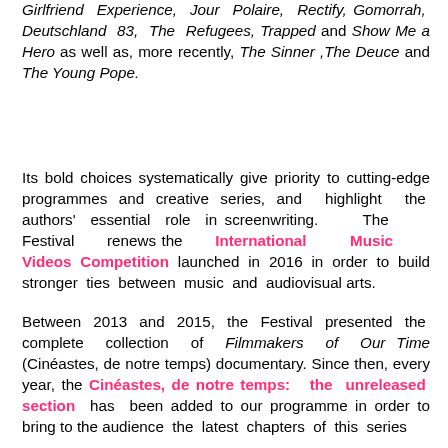Girlfriend Experience, Jour Polaire, Rectify, Gomorrah, Deutschland 83, The Refugees, Trapped and Show Me a Hero as well as, more recently, The Sinner ,The Deuce and The Young Pope.
Its bold choices systematically give priority to cutting-edge programmes and creative series, and highlight the authors' essential role in screenwriting. The Festival renews the International Music Videos Competition launched in 2016 in order to build stronger ties between music and audiovisual arts.
Between 2013 and 2015, the Festival presented the complete collection of Filmmakers of Our Time (Cinéastes, de notre temps) documentary. Since then, every year, the Cinéastes, de notre temps: the unreleased section has been added to our programme in order to bring to the audience the latest chapters of this series